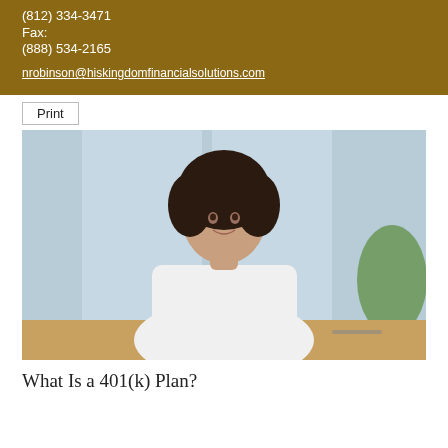(812) 334-3471
Fax:
(888) 534-2165
nrobinson@hiskingdomfinancialsolutions.com
Print
[Figure (photo): Professional woman with curly dark hair wearing a white blazer, seated at a desk with a laptop, smiling at the camera in a bright office setting.]
What Is a 401(k) Plan?